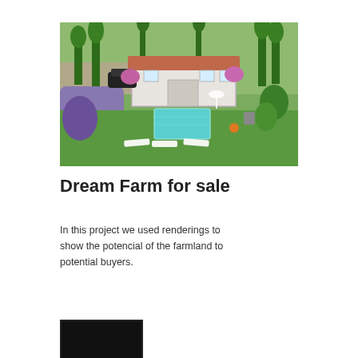[Figure (photo): Aerial 3D rendering of a farmhouse with terracotta roof, surrounded by tall cypress trees, lavender and flower gardens, a rectangular swimming pool, three sun loungers on a lawn, and parked cars near the entrance.]
Dream Farm for sale
In this project we used renderings to show the potencial of the farmland to potential buyers.
[Figure (photo): Small thumbnail image, dark/black, partially visible at bottom of page.]